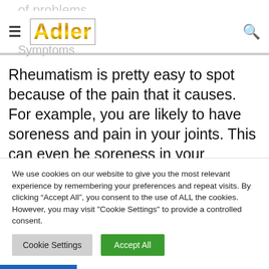Adler
of problems
Symptoms
Rheumatism is pretty easy to spot because of the pain that it causes. For example, you are likely to have soreness and pain in your joints. This can even be soreness in your muscles as well. Of course, you should note that it is different from just a sore muscle. When you have
We use cookies on our website to give you the most relevant experience by remembering your preferences and repeat visits. By clicking “Accept All”, you consent to the use of ALL the cookies. However, you may visit "Cookie Settings" to provide a controlled consent.